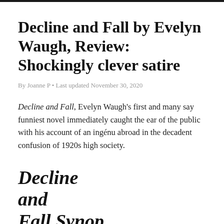Decline and Fall by Evelyn Waugh, Review: Shockingly clever satire
By Joanne P • Last updated November 30, 2020
Decline and Fall, Evelyn Waugh's first and many say funniest novel immediately caught the ear of the public with his account of an ingénu abroad in the decadent confusion of 1920s high society.
Decline and Fall Synop